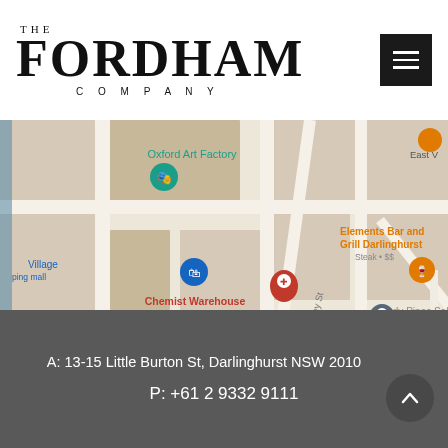THE FORDHAM COMPANY
[Figure (map): Google Maps screenshot showing Darlinghurst, Sydney area with landmarks: Oxford Art Factory, Elements Bar and Grill Darlinghurst, Chemist Warehouse Darlinghurst, Shady Pines Saloon, Universal Sydney, Colombian Hotel. Streets: Foley St, Riley St, Waine St, Goulburn St.]
A: 13-15 Little Burton St, Darlinghurst NSW 2010
P: +61 2 9332 9111